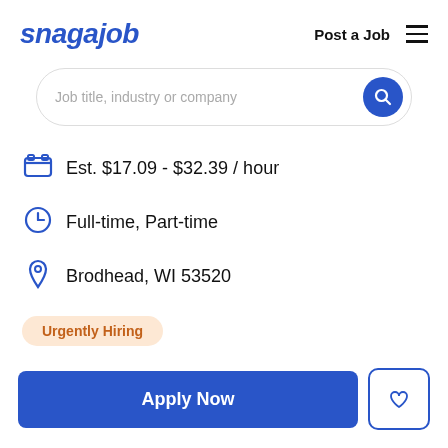snagajob | Post a Job
[Figure (screenshot): Search bar with placeholder text 'Job title, industry or company' and a blue circular search button]
Est. $17.09 - $32.39 / hour
Full-time, Part-time
Brodhead, WI 53520
Urgently Hiring
Apply Now